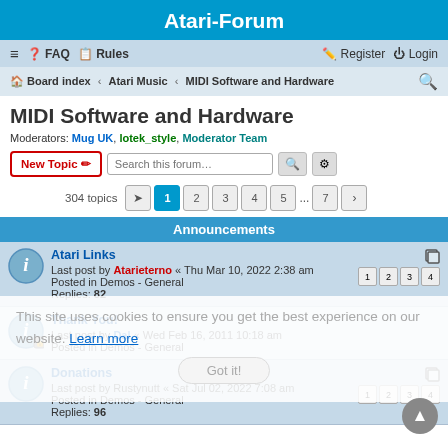Atari-Forum
≡  FAQ  Rules   Register  Login
Board index · Atari Music · MIDI Software and Hardware
MIDI Software and Hardware
Moderators: Mug UK, lotek_style, Moderator Team
New Topic  Search this forum…
304 topics  1 2 3 4 5 ... 7 ►
Announcements
Atari Links
Last post by Atarieterno « Thu Mar 10, 2022 2:38 am
Posted in Demos - General
Replies: 82
Thank You!
Last post by Dal « Wed Feb 16, 2011 10:18 am
Posted in Demos - General
Donations
Last post by Rustynutt « Sat Jul 02, 2022 7:08 am
Posted in Demos - General
Replies: 96
This site uses cookies to ensure you get the best experience on our website. Learn more
Got it!